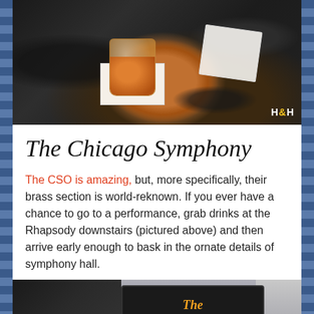[Figure (photo): Photo of an amber cocktail drink in a glass tumbler on a white coaster, placed on a dark granite bar surface. A folded napkin with a logo is visible in the background. H&H watermark in the bottom right corner.]
The Chicago Symphony
The CSO is amazing, but, more specifically, their brass section is world-reknown. If you ever have a chance to go to a performance, grab drinks at the Rhapsody downstairs (pictured above) and then arrive early enough to bask in the ornate details of symphony hall.
[Figure (photo): Photo of The Berghoff restaurant exterior sign with orange neon lettering on a dark background, with a B logo visible at the lower left and a building in the background on a snowy day.]